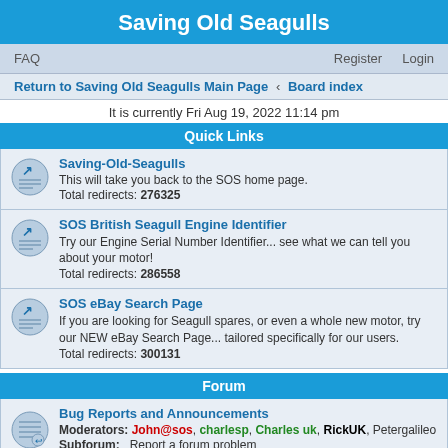Saving Old Seagulls
FAQ   Register   Login
Return to Saving Old Seagulls Main Page · Board index
It is currently Fri Aug 19, 2022 11:14 pm
Quick Links
Saving-Old-Seagulls
This will take you back to the SOS home page.
Total redirects: 276325
SOS British Seagull Engine Identifier
Try our Engine Serial Number Identifier... see what we can tell you about your motor!
Total redirects: 286558
SOS eBay Search Page
If you are looking for Seagull spares, or even a whole new motor, try our NEW eBay Search Page... tailored specifically for our users.
Total redirects: 300131
Forum
Bug Reports and Announcements
Moderators: John@sos, charlesp, Charles uk, RickUK, Petergalileo
Subforum: Report a forum problem
Topics: 41